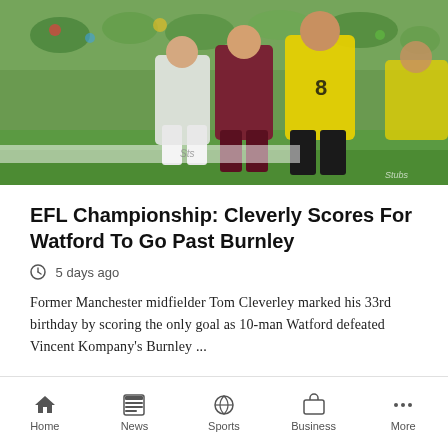[Figure (photo): Football match action photo showing players from Watford (yellow kit, number 8) and Burnley (claret/maroon kit) competing during an EFL Championship match, with a crowd visible in the background.]
EFL Championship: Cleverly Scores For Watford To Go Past Burnley
5 days ago
Former Manchester midfielder Tom Cleverley marked his 33rd birthday by scoring the only goal as 10-man Watford defeated Vincent Kompany's Burnley ...
Home  News  Sports  Business  More